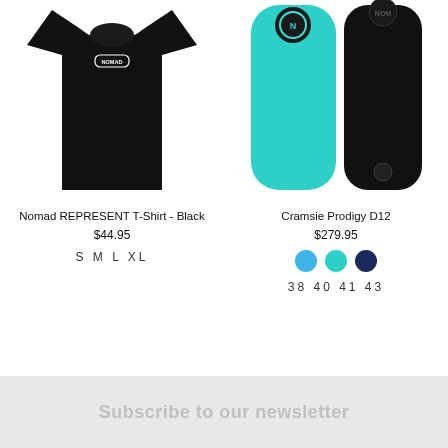[Figure (photo): Black Nomad REPRESENT T-Shirt with white logo on chest]
[Figure (photo): Two bodyboards side by side: a teal/turquoise Cramsie Prodigy D12 and a black Cramsie Prodigy D12, each with circular Nomad logo at top]
Nomad REPRESENT T-Shirt - Black
$44.95
S  M  L  XL
Cramsie Prodigy D12
$279.95
38  40  41  43
Subscribe to our newsletter